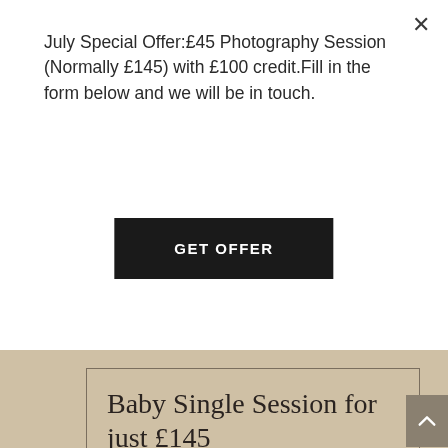×
July Special Offer:£45 Photography Session (Normally £145) with £100 credit.Fill in the form below and we will be in touch.
GET OFFER
Baby Single Session for just £145
What's included:
Pre-shoot consultation
Advise on what to bring on the day
One hour photoshoot